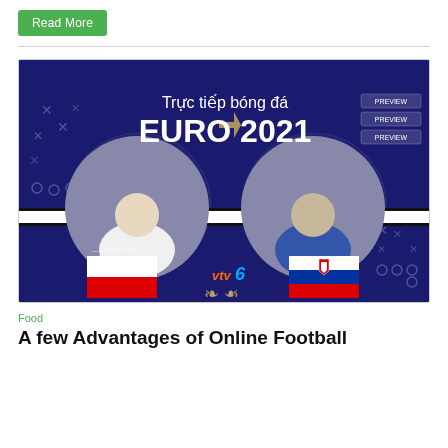Read More
[Figure (photo): Promotional banner for Euro 2021 football livestream on VTV6, showing two players — one in white Poland jersey, one in blue Slovakia jersey — with text 'Trực tiếp bóng đá EURO 2021', Poland and Slovakia flags, and VTV6 logo.]
Food
A few Advantages of Online Football